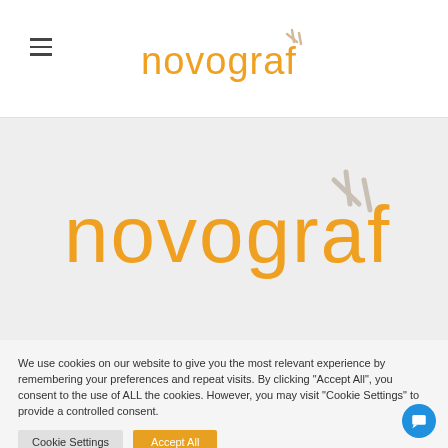novograf
[Figure (logo): Novograf company logo in orange with decorative strokes, large hero version on grey background]
We use cookies on our website to give you the most relevant experience by remembering your preferences and repeat visits. By clicking "Accept All", you consent to the use of ALL the cookies. However, you may visit "Cookie Settings" to provide a controlled consent.
Cookie Settings  Accept All